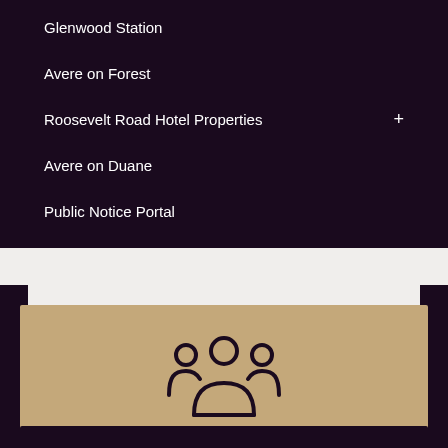Glenwood Station
Avere on Forest
Roosevelt Road Hotel Properties
Avere on Duane
Public Notice Portal
[Figure (illustration): People/group icon showing three figures (silhouettes) in a dark outline style on a tan/beige background]